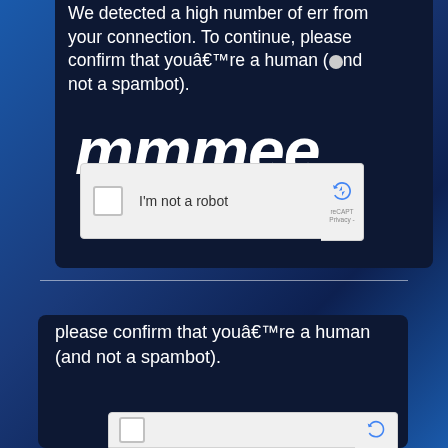We detected a high number of errors from your connection. To continue, please confirm that youâ€™re a human (and not a spambot).
[Figure (screenshot): reCAPTCHA widget with checkbox labeled 'I'm not a robot' and reCAPTCHA logo with 'reCAPT' and 'Privacy -' text visible]
please confirm that youâ€™re a human (and not a spambot).
[Figure (screenshot): Partial reCAPTCHA widget (bottom, cut off) showing reCAPTCHA logo]